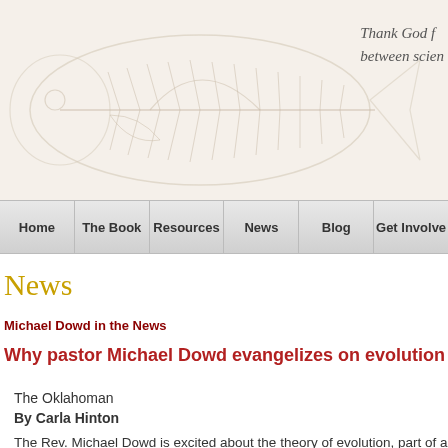[Figure (illustration): Fossil fish illustration watermark in light beige/cream tones forming a page header banner background]
Thank God f
between scien
Home | The Book | Resources | News | Blog | Get Involve
News
Michael Dowd in the News
Why pastor Michael Dowd evangelizes on evolution
The Oklahoman
By Carla Hinton
The Rev. Michael Dowd is excited about the theory of evolution, part of a "sacred st